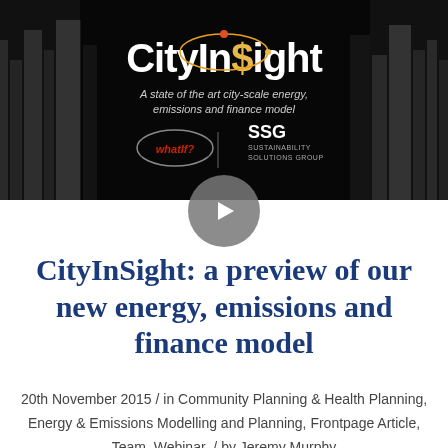[Figure (screenshot): CityInSight banner image showing city skyline in black and white with the CityInSight logo (white text with orange/gold orbital graphic) and subtitle 'A state of the art city-scale energy, emissions and finance model', plus whatIf? and SSG Sustainability Solutions Group logos. A circular play button overlays the bottom center.]
CityInSight: a preview of our new energy, emissions and finance model
20th November 2015 / in Community Planning & Health Planning, Energy & Emissions Modelling and Planning, Frontpage Article, Team, Webinar / by Jeremy Murphy